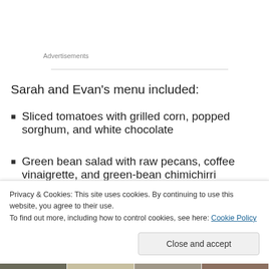Advertisements
Sarah and Evan's menu included:
Sliced tomatoes with grilled corn, popped sorghum, and white chocolate
Green bean salad with raw pecans, coffee vinaigrette, and green-bean chimichirri
Privacy & Cookies: This site uses cookies. By continuing to use this website, you agree to their use.
To find out more, including how to control cookies, see here: Cookie Policy
Close and accept